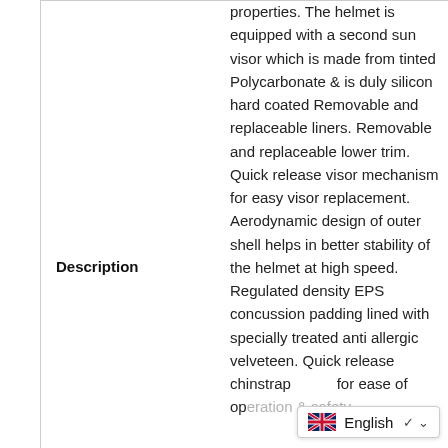Description
properties. The helmet is equipped with a second sun visor which is made from tinted Polycarbonate & is duly silicon hard coated Removable and replaceable liners. Removable and replaceable lower trim. Quick release visor mechanism for easy visor replacement. Aerodynamic design of outer shell helps in better stability of the helmet at high speed. Regulated density EPS concussion padding lined with specially treated anti allergic velveteen. Quick release chinstrap for ease of operation & safety. Regulated by that...